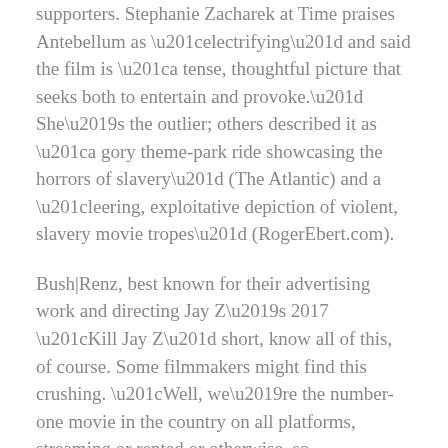supporters. Stephanie Zacharek at Time praises Antebellum as “electrifying” and said the film is “a tense, thoughtful picture that seeks both to entertain and provoke.” She’s the outlier; others described it as “a gory theme-park ride showcasing the horrors of slavery” (The Atlantic) and a “leering, exploitative depiction of violent, slavery movie tropes” (RogerEbert.com).
Bush|Renz, best known for their advertising work and directing Jay Z’s 2017 “Kill Jay Z” short, know all of this, of course. Some filmmakers might find this crushing. “Well, we’re the number-one movie in the country on all platforms, streaming or rented or otherwise, so, there’s that,” Bush said. “So, apparently, the polarization of the conversation around this movie is working to great effect.”
Beyond box-office returns, they take the long view. “We maintain our sovereignty as artists above a tech platform as Rotten Tomatoes, because we know that in the end, this is a